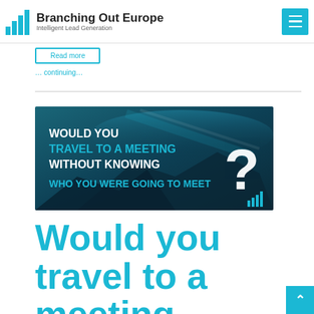Branching Out Europe — Intelligent Lead Generation
longer than forty...
Read more
[Figure (screenshot): Promotional banner image with dark teal background and aerial view of landscape. Text reads: WOULD YOU TRAVEL TO A MEETING WITHOUT KNOWING WHO YOU WERE GOING TO MEET with a large white question mark.]
Would you travel to a meeting without